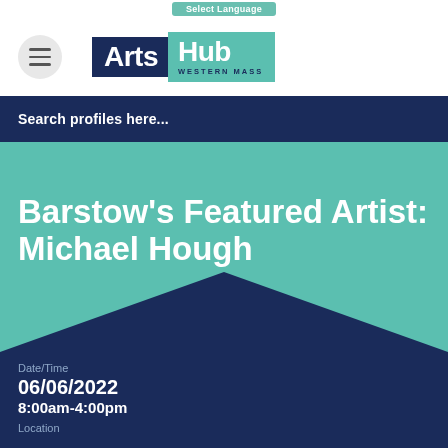Select Language
[Figure (logo): ArtsHub Western Mass logo — dark navy rectangle with 'Arts' in white bold text, teal rectangle with 'Hub' in white bold text, 'WESTERN MASS' in small navy caps below]
Search profiles here...
Barstow's Featured Artist: Michael Hough
Date/Time
06/06/2022
8:00am-4:00pm
Location